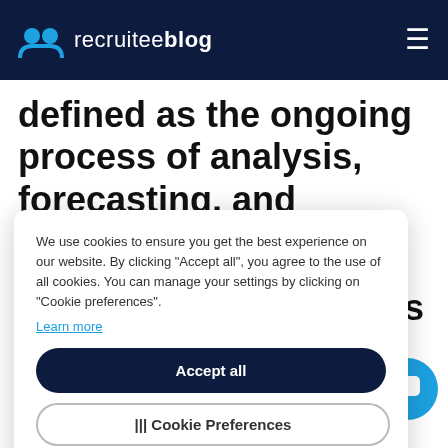recruiteeblog
defined as the ongoing process of analysis, forecasting, and planning workforce supply ...sing gaps, ...interventions ...e right skills ...rganization's ...rward ...ng is ...ocus on... future,... planning involves gathering plenty of data a...
We use cookies to ensure you get the best experience on our website. By clicking "Accept all", you agree to the use of all cookies. You can manage your settings by clicking on "Cookie preferences". Learn more
Accept all
Cookie Preferences
Reject optional cookies
planning involves gathering plenty of data a...